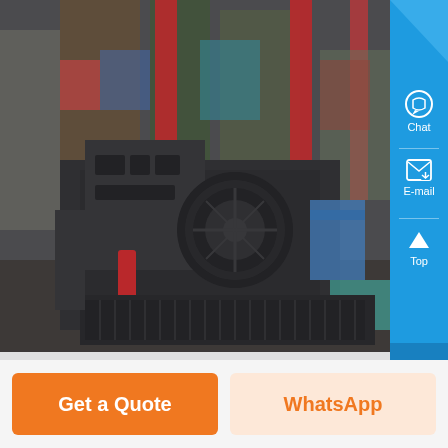[Figure (photo): Industrial machinery/equipment in a factory setting. Dark metal machine with circular disc/wheel visible, surrounded by red metal pillars and colorful industrial equipment in a warehouse.]
Chat
E-mail
Top
Get a Quote
WhatsApp